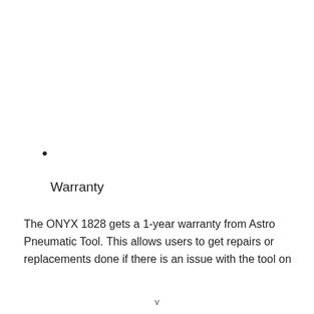•
Warranty
The ONYX 1828 gets a 1-year warranty from Astro Pneumatic Tool. This allows users to get repairs or replacements done if there is an issue with the tool on
v